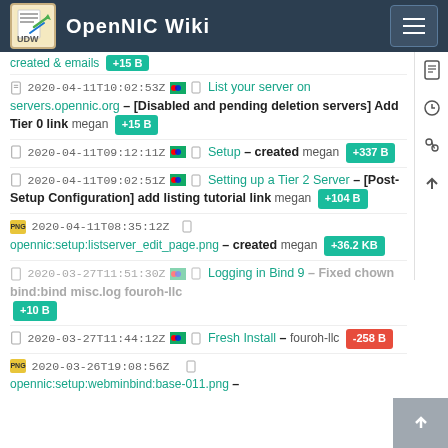OpenNIC Wiki
2020-04-11T10:02:53Z List your server on servers.opennic.org – [Disabled and pending deletion servers] Add Tier 0 link megan +15 B
2020-04-11T09:12:11Z Setup – created megan +337 B
2020-04-11T09:02:51Z Setting up a Tier 2 Server – [Post-Setup Configuration] add listing tutorial link megan +104 B
2020-04-11T08:35:12Z opennic:setup:listserver_edit_page.png – created megan +36.2 KB
2020-03-27T11:51:30Z Logging in Bind 9 – Fixed chown bind:bind misc.log fouroh-llc +10 B
2020-03-27T11:44:12Z Fresh Install – fouroh-llc -258 B
2020-03-26T19:08:56Z opennic:setup:webminbind:base-011.png –